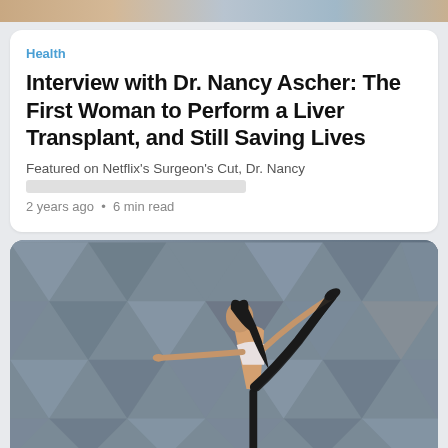[Figure (photo): Colorful decorative image strip at the top of the page]
Health
Interview with Dr. Nancy Ascher: The First Woman to Perform a Liver Transplant, and Still Saving Lives
Featured on Netflix's Surgeon's Cut, Dr. Nancy
2 years ago • 6 min read
[Figure (photo): Woman performing a yoga dancer pose (Natarajasana) against a geometric grey background, wearing black leggings and white sports bra, arms extended balancing on one leg]
Fitness